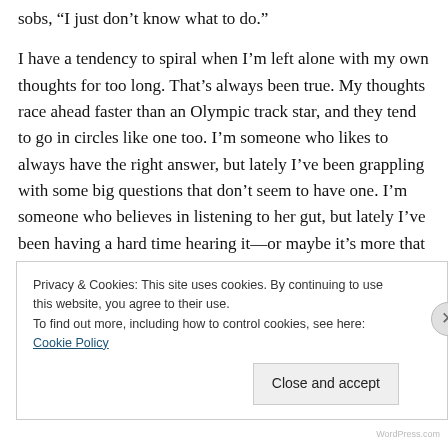sobs, “I just don’t know what to do.”
I have a tendency to spiral when I’m left alone with my own thoughts for too long. That’s always been true. My thoughts race ahead faster than an Olympic track star, and they tend to go in circles like one too. I’m someone who likes to always have the right answer, but lately I’ve been grappling with some big questions that don’t seem to have one. I’m someone who believes in listening to her gut, but lately I’ve been having a hard time hearing it—or maybe it’s more that I’ve been having a hard time accepting and
Privacy & Cookies: This site uses cookies. By continuing to use this website, you agree to their use.
To find out more, including how to control cookies, see here: Cookie Policy
Close and accept